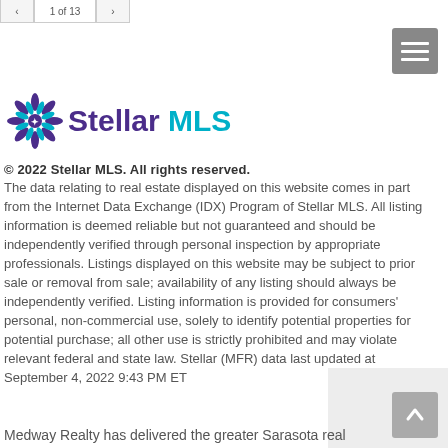1 of 13
[Figure (logo): Stellar MLS logo with starburst icon and text 'Stellar MLS' in purple and teal]
© 2022 Stellar MLS. All rights reserved. The data relating to real estate displayed on this website comes in part from the Internet Data Exchange (IDX) Program of Stellar MLS. All listing information is deemed reliable but not guaranteed and should be independently verified through personal inspection by appropriate professionals. Listings displayed on this website may be subject to prior sale or removal from sale; availability of any listing should always be independently verified. Listing information is provided for consumers' personal, non-commercial use, solely to identify potential properties for potential purchase; all other use is strictly prohibited and may violate relevant federal and state law. Stellar (MFR) data last updated at September 4, 2022 9:43 PM ET
Medway Realty has delivered the greater Sarasota real